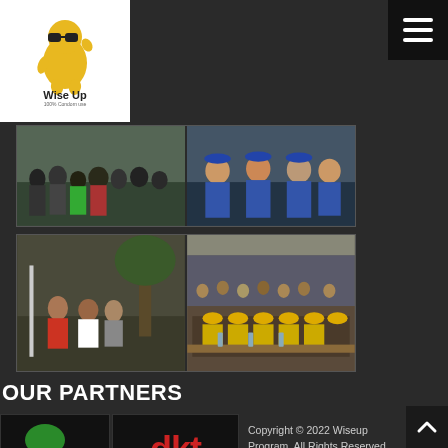[Figure (logo): Wise Up 100% Condom Use mascot logo - yellow cartoon figure wearing sunglasses]
[Figure (photo): Hamburger menu icon on dark background]
[Figure (photo): Top photo grid: two photos showing groups of people, one outdoor crowd scene and one of uniformed officers]
[Figure (photo): Bottom photo grid: two photos showing group activities, one showing people gathered around a table and one showing a large audience with people in yellow caps at front]
OUR PARTNERS
[Figure (logo): Lehiwot Ethiopia organization logo with colorful hands and text]
[Figure (logo): DKT ETHIOPIA logo in red]
Copyright © 2022 Wiseup Program. All Rights Reserved.